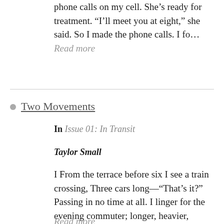phone calls on my cell. She’s ready for treatment. “I’ll meet you at eight,” she said. So I made the phone calls. I fo… Read more
Two Movements
In Issue 01: In Transit
Taylor Small
I From the terrace before six I see a train crossing, Three cars long—“That’s it?” Passing in no time at all. I linger for the evening commuter; longer, heavier, humi… Read more